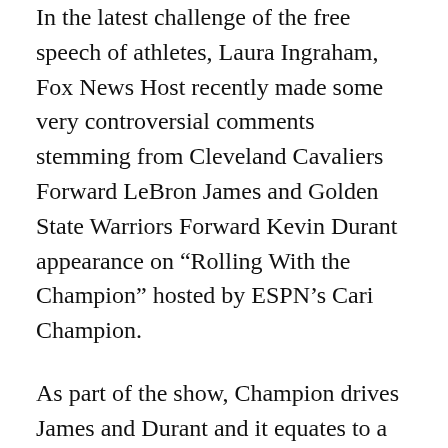In the latest challenge of the free speech of athletes, Laura Ingraham, Fox News Host recently made some very controversial comments stemming from Cleveland Cavaliers Forward LeBron James and Golden State Warriors Forward Kevin Durant appearance on “Rolling With the Champion” hosted by ESPN’s Cari Champion.
As part of the show, Champion drives James and Durant and it equates to a mobile interview.  They address President Donald Trump and his behavior in office along with a few more issues with the President.